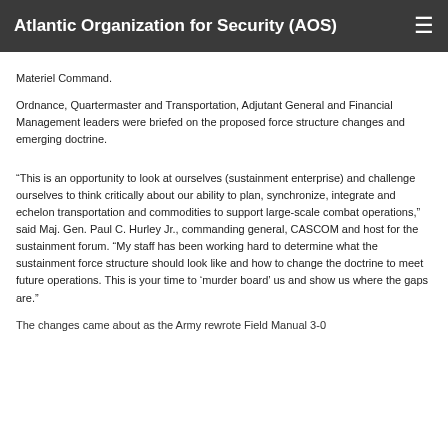Atlantic Organization for Security (AOS)
Materiel Command.
Ordnance, Quartermaster and Transportation, Adjutant General and Financial Management leaders were briefed on the proposed force structure changes and emerging doctrine.
“This is an opportunity to look at ourselves (sustainment enterprise) and challenge ourselves to think critically about our ability to plan, synchronize, integrate and echelon transportation and commodities to support large-scale combat operations,” said Maj. Gen. Paul C. Hurley Jr., commanding general, CASCOM and host for the sustainment forum. “My staff has been working hard to determine what the sustainment force structure should look like and how to change the doctrine to meet future operations. This is your time to ‘murder board’ us and show us where the gaps are.”
The changes came about as the Army rewrote Field Manual 3-0